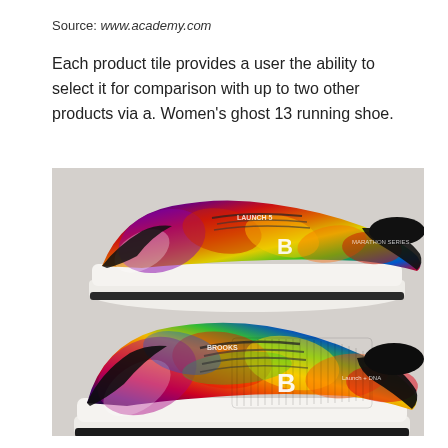Source: www.academy.com
Each product tile provides a user the ability to select it for comparison with up to two other products via a. Women's ghost 13 running shoe.
[Figure (photo): Two colorful tie-dye patterned Brooks running shoes (Launch 5 Marathon Series) displayed on a light grey/white background. The shoes feature rainbow swirl patterns in red, orange, yellow, green, blue, and purple with black accents and white soles. One shoe is stacked on top of the other, both showing the side profile.]